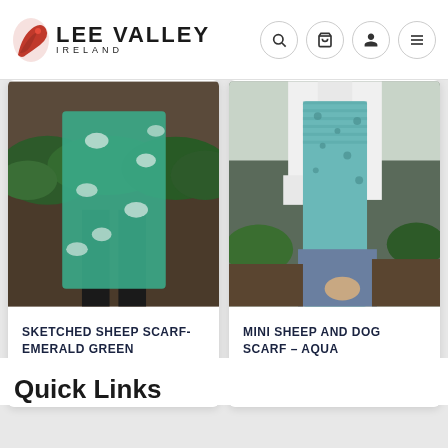Lee Valley Ireland
[Figure (photo): Product card showing Sketched Sheep Scarf in Emerald Green - a teal/green patterned scarf worn by a person outdoors]
SKETCHED SHEEP SCARF- EMERALD GREEN
$22.00 USD
[Figure (photo): Product card showing Mini Sheep and Dog Scarf in Aqua - a light teal knit scarf worn by a person outdoors]
MINI SHEEP AND DOG SCARF – AQUA
$25.00 USD
Quick Links